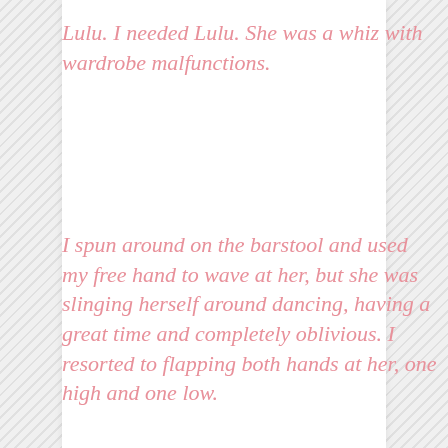Lulu. I needed Lulu. She was a whiz with wardrobe malfunctions.
I spun around on the barstool and used my free hand to wave at her, but she was slinging herself around dancing, having a great time and completely oblivious. I resorted to flapping both hands at her, one high and one low.